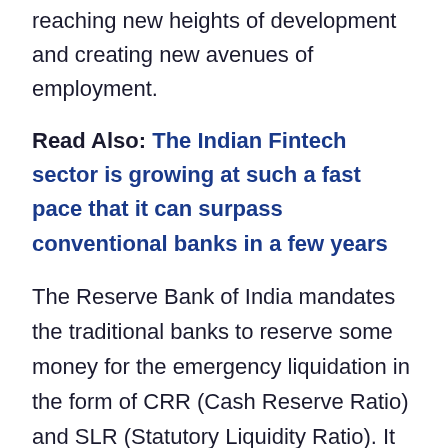reaching new heights of development and creating new avenues of employment.
Read Also: The Indian Fintech sector is growing at such a fast pace that it can surpass conventional banks in a few years
The Reserve Bank of India mandates the traditional banks to reserve some money for the emergency liquidation in the form of CRR (Cash Reserve Ratio) and SLR (Statutory Liquidity Ratio). It keeps the banking sector ready to face any unfavorable conditions in the financial sector.